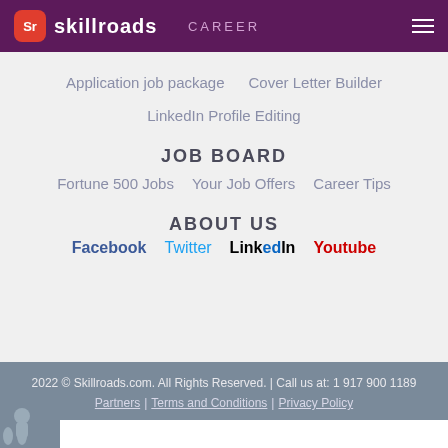skillroads — CAREER
Application job package   Cover Letter Builder
LinkedIn Profile Editing
JOB BOARD
Fortune 500 Jobs   Your Job Offers   Career Tips
ABOUT US
Facebook   Twitter   LinkedIn   Youtube
2022 © Skillroads.com. All Rights Reserved. | Call us at: 1 917 900 1189   Partners | Terms and Conditions | Privacy Policy